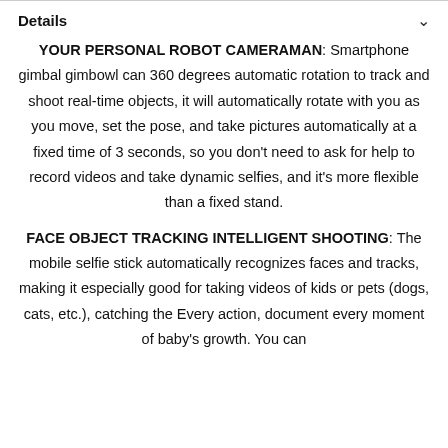Details
YOUR PERSONAL ROBOT CAMERAMAN: Smartphone gimbal gimbowl can 360 degrees automatic rotation to track and shoot real-time objects, it will automatically rotate with you as you move, set the pose, and take pictures automatically at a fixed time of 3 seconds, so you don’t need to ask for help to record videos and take dynamic selfies, and it’s more flexible than a fixed stand.
FACE OBJECT TRACKING INTELLIGENT SHOOTING: The mobile selfie stick automatically recognizes faces and tracks, making it especially good for taking videos of kids or pets (dogs, cats, etc.), catching the Every action, document every moment of baby’s growth. You can